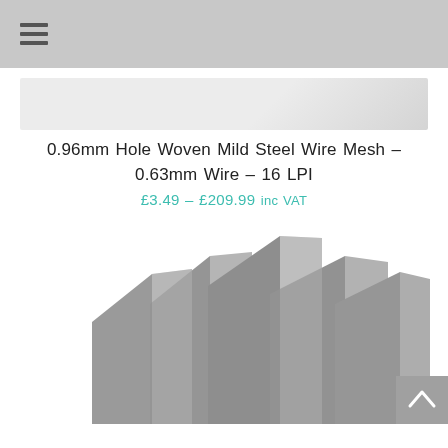navigation menu icon
[Figure (photo): Partial product image visible at top, light grey background]
0.96mm Hole Woven Mild Steel Wire Mesh – 0.63mm Wire – 16 LPI
£3.49 – £209.99 inc VAT
[Figure (photo): Multiple rectangular sheets of woven mild steel wire mesh fanned out, showing metallic grey woven texture]